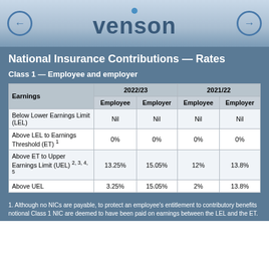venson
National Insurance Contributions — Rates
Class 1 — Employee and employer
| Earnings | 2022/23 Employee | 2022/23 Employer | 2021/22 Employee | 2021/22 Employer |
| --- | --- | --- | --- | --- |
| Below Lower Earnings Limit (LEL) | Nil | Nil | Nil | Nil |
| Above LEL to Earnings Threshold (ET) 1 | 0% | 0% | 0% | 0% |
| Above ET to Upper Earnings Limit (UEL) 2, 3, 4, 5 | 13.25% | 15.05% | 12% | 13.8% |
| Above UEL | 3.25% | 15.05% | 2% | 13.8% |
1. Although no NICs are payable, to protect an employee's entitlement to contributory benefits notional Class 1 NIC are deemed to have been paid on earnings between the LEL and the ET.